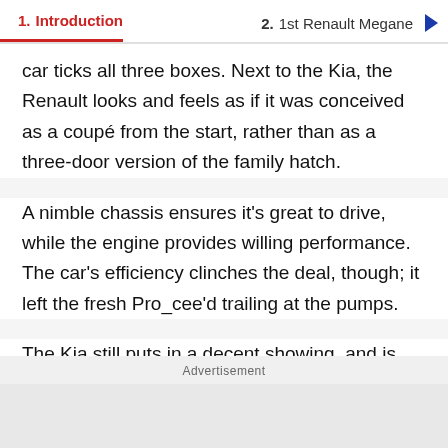1. Introduction    2. 1st Renault Megane
car ticks all three boxes. Next to the Kia, the Renault looks and feels as if it was conceived as a coupé from the start, rather than as a three-door version of the family hatch.
A nimble chassis ensures it's great to drive, while the engine provides willing performance. The car's efficiency clinches the deal, though; it left the fresh Pro_cee'd trailing at the pumps.
The Kia still puts in a decent showing, and is sure to attract plenty of interest. It's more spacious than the
Advertisement